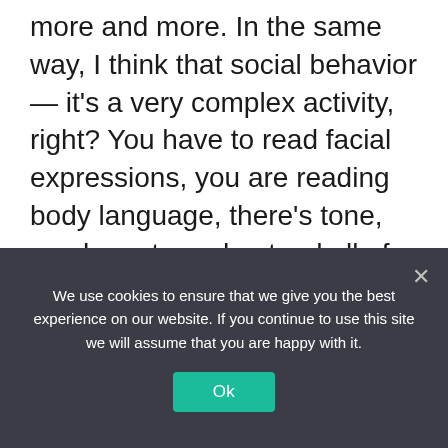more and more. In the same way, I think that social behavior — it's a very complex activity, right? You have to read facial expressions, you are reading body language, there's tone, you have to understand all of these different social norms, and then you have to learn how to regulate your own response, your emotional response, what you say. And you learn how to resolve conflicts, you learn how to cooperate, you learn how to do lots of things. Some of it might seem like you're wasting time, but it's
We use cookies to ensure that we give you the best experience on our website. If you continue to use this site we will assume that you are happy with it.